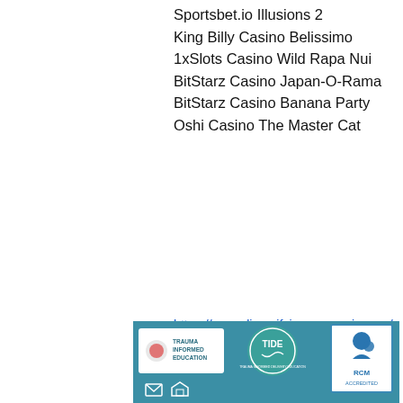Sportsbet.io Illusions 2
King Billy Casino Belissimo
1xSlots Casino Wild Rapa Nui
BitStarz Casino Japan-O-Rama
BitStarz Casino Banana Party
Oshi Casino The Master Cat
https://www.diversifyingeconomics.org/profile/robbindeviney10137123/profile
https://en.mihaarquitectura.com/profile/jimmiemascot10712706/profile
https://www.automationindustries.com.au/profile/gwenlorson16321899/profile
https://www.wedontblabber.com/profile/josehitchingham19456207/profile
[Figure (screenshot): Footer banner with teal background showing three logos: Trauma Informed Education, TIDE (circular teal logo), and RCM Accredited badge. Below are icons of an envelope and a house.]